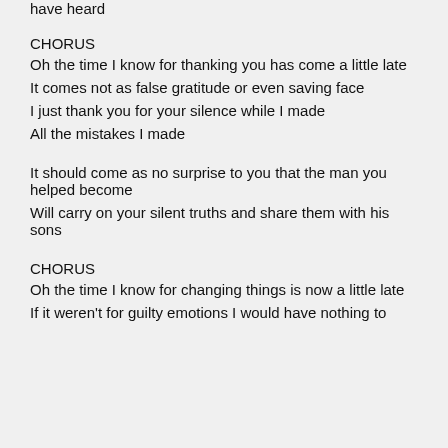have heard
CHORUS
Oh the time I know for thanking you has come a little late
It comes not as false gratitude or even saving face
I just thank you for your silence while I made
All the mistakes I made
It should come as no surprise to you that the man you helped become
Will carry on your silent truths and share them with his sons
CHORUS
Oh the time I know for changing things is now a little late
If it weren't for guilty emotions I would have nothing to